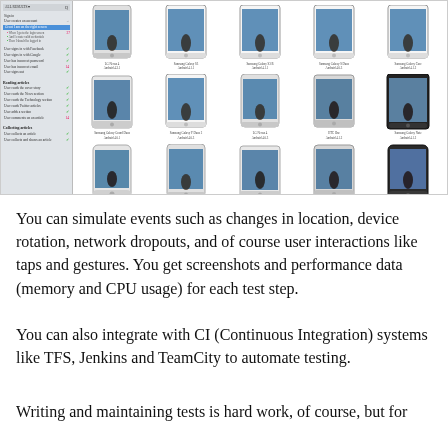[Figure (screenshot): A screenshot of a mobile app testing interface showing a left panel with test scenarios (Sign in, Reading articles, Collecting articles) and a grid of 15 Android phone device screenshots on the right, including LG Nexus 4, Samsung Galaxy S3, Samsung Galaxy S3 Duos, Samsung Galaxy S Duos, Samsung Galaxy Core, Samsung Galaxy Grand Duos, Samsung Galaxy Y Duos 2, LG Nexus 4, HTC One, Samsung Galaxy Note, Sony Xperia T, LG G2, Samsung Galaxy Grand Duos, Huawei Ascend Y300, Samsung Galaxy Carbonand running Android versions]
You can simulate events such as changes in location, device rotation, network dropouts, and of course user interactions like taps and gestures. You get screenshots and performance data (memory and CPU usage) for each test step.
You can also integrate with CI (Continuous Integration) systems like TFS, Jenkins and TeamCity to automate testing.
Writing and maintaining tests is hard work, of course, but for